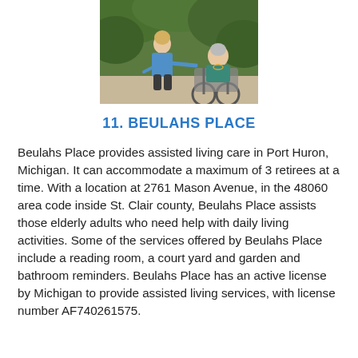[Figure (photo): A caregiver in blue scrubs assists an elderly woman in a wheelchair, outdoors with green foliage in the background.]
11. BEULAHS PLACE
Beulahs Place provides assisted living care in Port Huron, Michigan. It can accommodate a maximum of 3 retirees at a time. With a location at 2761 Mason Avenue, in the 48060 area code inside St. Clair county, Beulahs Place assists those elderly adults who need help with daily living activities. Some of the services offered by Beulahs Place include a reading room, a court yard and garden and bathroom reminders. Beulahs Place has an active license by Michigan to provide assisted living services, with license number AF740261575.